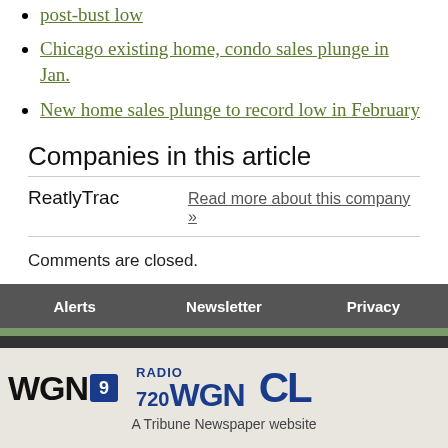post-bust low
Chicago existing home, condo sales plunge in Jan.
New home sales plunge to record low in February
Companies in this article
ReatlyTrac   Read more about this company »
Comments are closed.
Alerts   Newsletter   Privacy
[Figure (logo): WGN9, Radio 720 WGN, and CL logos with 'A Tribune Newspaper website' tagline]